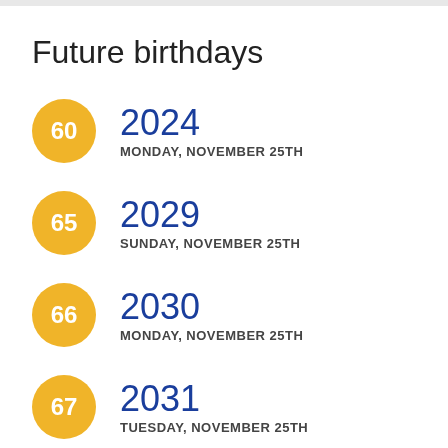Future birthdays
60 — 2024, MONDAY, NOVEMBER 25TH
65 — 2029, SUNDAY, NOVEMBER 25TH
66 — 2030, MONDAY, NOVEMBER 25TH
67 — 2031, TUESDAY, NOVEMBER 25TH